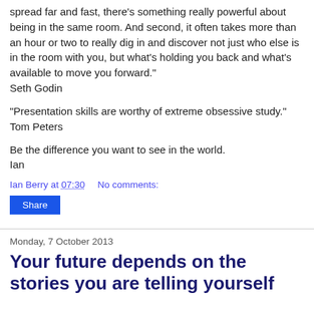spread far and fast, there's something really powerful about being in the same room. And second, it often takes more than an hour or two to really dig in and discover not just who else is in the room with you, but what's holding you back and what's available to move you forward."
Seth Godin
"Presentation skills are worthy of extreme obsessive study."
Tom Peters
Be the difference you want to see in the world.
Ian
Ian Berry at 07:30    No comments:
Share
Monday, 7 October 2013
Your future depends on the stories you are telling yourself